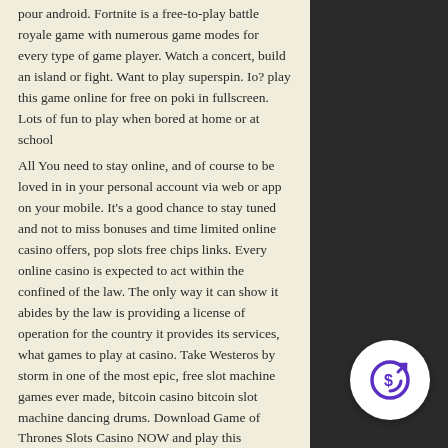pour android. Fortnite is a free-to-play battle royale game with numerous game modes for every type of game player. Watch a concert, build an island or fight. Want to play superspin. Io? play this game online for free on poki in fullscreen. Lots of fun to play when bored at home or at school
All You need to stay online, and of course to be loved in in your personal account via web or app on your mobile. It's a good chance to stay tuned and not to miss bonuses and time limited online casino offers, pop slots free chips links. Every online casino is expected to act within the confined of the law. The only way it can show it abides by the law is providing a license of operation for the country it provides its services, what games to play at casino. Take Westeros by storm in one of the most epic, free slot machine games ever made, bitcoin casino bitcoin slot machine dancing drums. Download Game of Thrones Slots Casino NOW and play this
[Figure (logo): Circular white logo with a purple rocket/target icon and dollar sign]